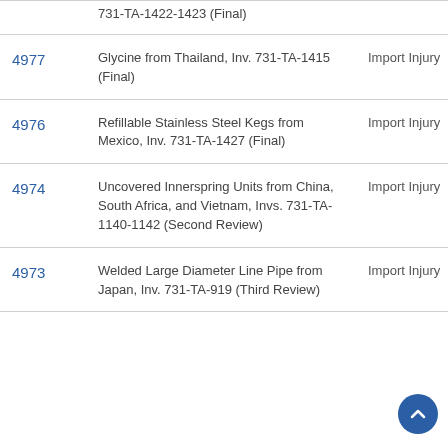| Pub. No. | Title / Investigation | Type |
| --- | --- | --- |
|  | 731-TA-1422-1423 (Final) |  |
| 4977 | Glycine from Thailand, Inv. 731-TA-1415 (Final) | Import Injury |
| 4976 | Refillable Stainless Steel Kegs from Mexico, Inv. 731-TA-1427 (Final) | Import Injury |
| 4974 | Uncovered Innerspring Units from China, South Africa, and Vietnam, Invs. 731-TA-1140-1142 (Second Review) | Import Injury |
| 4973 | Welded Large Diameter Line Pipe from Japan, Inv. 731-TA-919 (Third Review) | Import Injury |